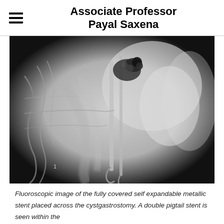Associate Professor Payal Saxena
[Figure (photo): Fluoroscopic grayscale X-ray image showing a fully covered self expandable metallic stent placed across the cystgastrostomy, with a double pigtail stent visible within the structure. The image shows internal anatomy with contrast highlighting the stent placement.]
Fluoroscopic image of the fully covered self expandable metallic stent placed across the cystgastrostomy. A double pigtail stent is seen within the